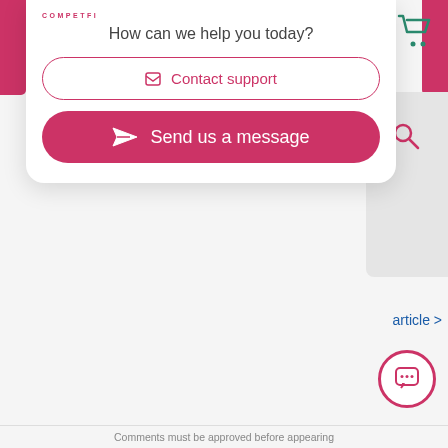[Figure (screenshot): Logo text 'COMPETFI' in small pink uppercase letters]
How can we help you today?
Contact support
Send us a message
[Figure (other): Shopping cart icon (teal/green) top right]
[Figure (other): Search magnifying glass icon (pink) in gray panel on right]
article >
[Figure (other): Chat bubble circle button bottom right with speech bubble icon]
Comments must be approved before appearing